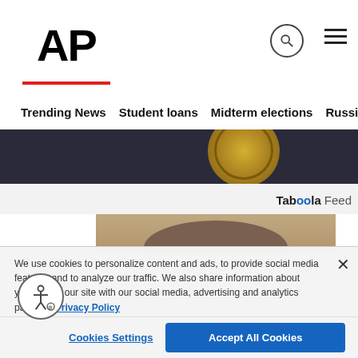AP
Trending News   Student loans   Midterm elections   Russia-Ukr
[Figure (photo): Partial view of a government/institutional seal on dark background]
Taboola Feed
[Figure (photo): Close-up mugshot-style photo of a bald/shaved-head man looking directly at camera]
We use cookies to personalize content and ads, to provide social media features and to analyze our traffic. We also share information about your use of our site with our social media, advertising and analytics partners. Privacy Policy
Cookies Settings
Accept All Cookies